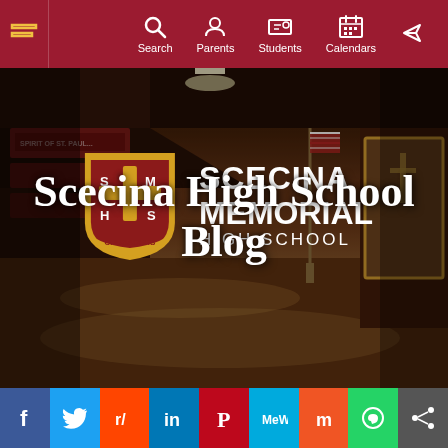Search  Parents  Students  Calendars
[Figure (screenshot): Scecina Memorial High School hallway photo used as hero background image with school logo overlay]
Scecina High School Blog
[Figure (infographic): Social media sharing bar with icons for Facebook, Twitter, Reddit, LinkedIn, Pinterest, MeWe, Mix, WhatsApp, and Share]